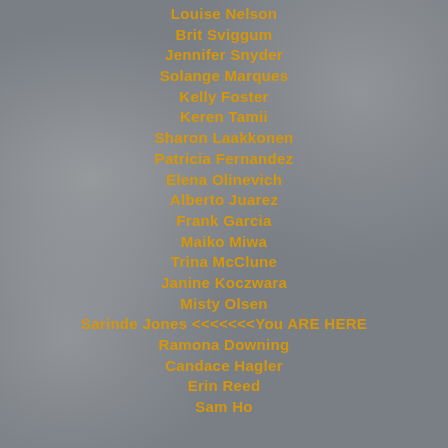Louise Nelson
Brit Sviggum
Jennifer Snyder
Solange Marques
Kelly Foster
Keren Tamii
Sharon Laakkonen
Patricia Fernandez
Elena Olinevich
Alberto Juarez
Frank Garcia
Maiko Miwa
Trina McClune
Janine Koczwara
Misty Olsen
Sarinde Jones  <<<<<<<You ARE HERE
Ramona Downing
Candace Hagler
Erin Reed
Sam Ho